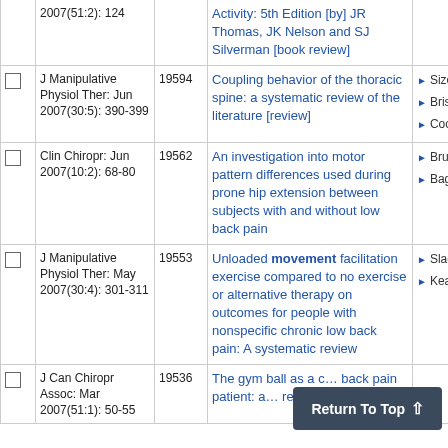|  | Journal | ID | Title | Authors |
| --- | --- | --- | --- | --- |
|  | 2007(51:2): 124 |  | Activity: 5th Edition [by] JR Thomas, JK Nelson and SJ Silverman [book review] |  |
|  | J Manipulative Physiol Ther: Jun 2007(30:5): 390-399 | 19594 | Coupling behavior of the thoracic spine: a systematic review of the literature [review] | Sizer PS
Brismée JM
Cook C |
|  | Clin Chiropr: Jun 2007(10:2): 68-80 | 19562 | An investigation into motor pattern differences used during prone hip extension between subjects with and without low back pain | Bruno PA
Bagust J |
|  | J Manipulative Physiol Ther: May 2007(30:4): 301-311 | 19553 | Unloaded movement facilitation exercise compared to no exercise or alternative therapy on outcomes for people with nonspecific chronic low back pain: A systematic review | Slade SC
Keating JL |
|  | J Can Chiropr Assoc: Mar 2007(51:1): 50-55 | 19536 | The gym ball as a chronic back pain patient: a report |  |